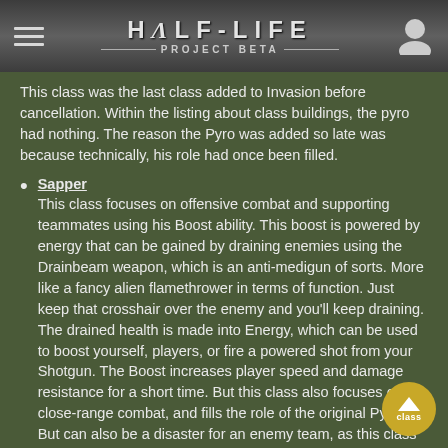HALF-LIFE PROJECT BETA
This class was the last class added to Invasion before cancellation. Within the listing about class buildings, the pyro had nothing. The reason the Pyro was added so late was because technically, his role had once been filled.
Sapper
This class focuses on offensive combat and supporting teammates using his Boost ability. This boost is powered by energy that can be gained by draining enemies using the Drainbeam weapon, which is an anti-medigun of sorts. More like a fancy alien flamethrower in terms of function. Just keep that crosshair over the enemy and you'll keep draining. The drained health is made into Energy, which can be used to boost yourself, players, or fire a powered shot from your Shotgun. The Boost increases player speed and damage resistance for a short time. But this class also focuses on close-range combat, and fills the role of the original Pyro. But can also be a disaster for an enemy team, as this class houses the dreaded EMP effect. Which can be unleashed to the world using the EMP generator, or